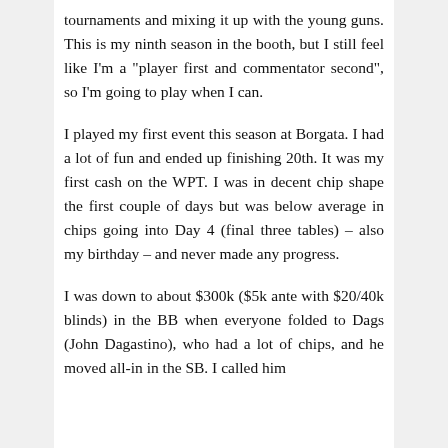tournaments and mixing it up with the young guns. This is my ninth season in the booth, but I still feel like I'm a "player first and commentator second", so I'm going to play when I can.
I played my first event this season at Borgata. I had a lot of fun and ended up finishing 20th. It was my first cash on the WPT. I was in decent chip shape the first couple of days but was below average in chips going into Day 4 (final three tables) – also my birthday – and never made any progress.
I was down to about $300k ($5k ante with $20/40k blinds) in the BB when everyone folded to Dags (John Dagastino), who had a lot of chips, and he moved all-in in the SB. I called him